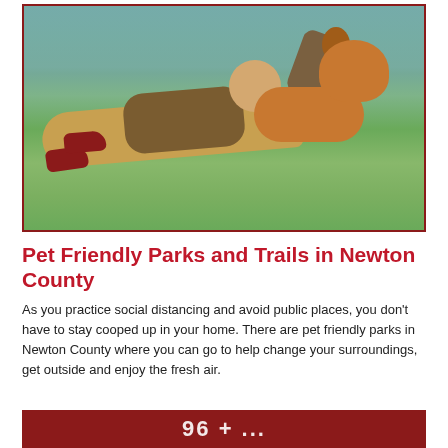[Figure (photo): A person lying on green grass outdoors, resting their head on a large golden/brown dog. The person is wearing tan pants, a brown jacket, and red sneakers. There is a backpack nearby. The scene is outdoors on a sunny day with green grass.]
Pet Friendly Parks and Trails in Newton County
As you practice social distancing and avoid public places, you don't have to stay cooped up in your home. There are pet friendly parks in Newton County where you can go to help change your surroundings, get outside and enjoy the fresh air.
96 +...